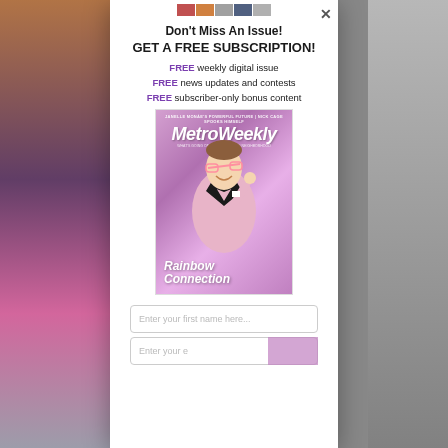[Figure (screenshot): Background with blurred photos on left and right sides behind a white modal popup]
Don't Miss An Issue!
GET A FREE SUBSCRIPTION!
FREE weekly digital issue
FREE news updates and contests
FREE subscriber-only bonus content
[Figure (photo): Metro Weekly magazine cover featuring a man in a pink sequined tuxedo jacket with black bow tie holding pink glasses, with text 'Rainbow Connection' in white script]
Enter your first name here...
Enter your email here...